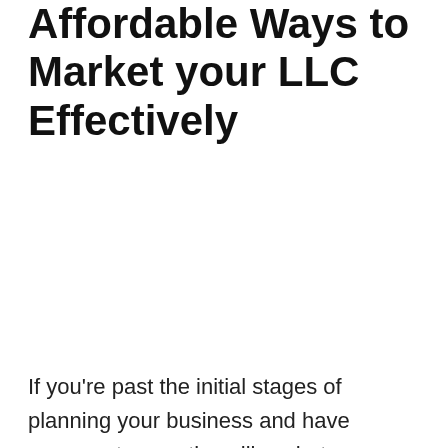Affordable Ways to Market your LLC Effectively
If you're past the initial stages of planning your business and have answers to questions like what are